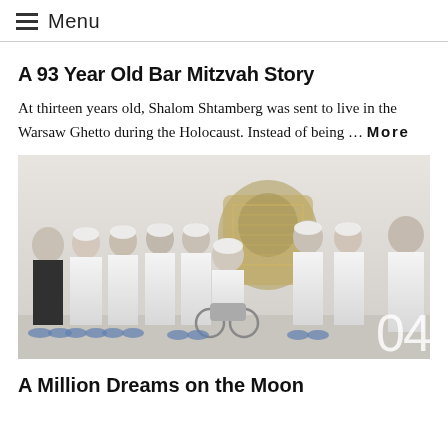☰ Menu
A 93 Year Old Bar Mitzvah Story
At thirteen years old, Shalom Shtamberg was sent to live in the Warsaw Ghetto during the Holocaust. Instead of being … More
[Figure (photo): Group of people in white lab coats and hair covers standing in front of a spacecraft or satellite in a cleanroom facility. One person is seated in a wheelchair holding an object. Number '04' overlaid in bottom right corner.]
A Million Dreams on the Moon